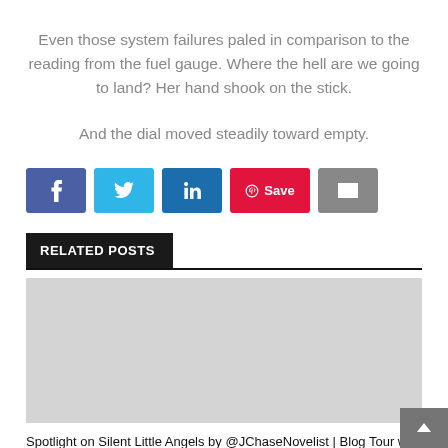Even those system failures paled in comparison to the reading from the fuel gauge. Where the hell are we going to land? Her hand shook on the stick.
And the dial moved steadily toward empty.
[Figure (other): Social sharing buttons: Facebook, Twitter, LinkedIn, Pinterest Save, Email]
RELATED POSTS
[Figure (photo): Gray placeholder image for a related post thumbnail]
Spotlight on Silent Little Angels by @JChaseNovelist | Blog Tour with Pump Up Your Book! | Thriller, Crime